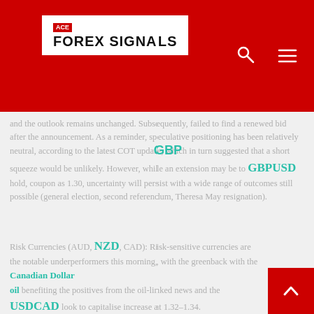[Figure (logo): ACE Forex Signals logo on red header background with search and menu icons]
and the outlook remains unchanged. Subsequently, failed to find a renewed bid after the announcement. As a reminder, speculative positioning has been relatively neutral, according to the latest COT update, which in turn suggested that a short squeeze would be unlikely. However, while an extension may be to GBP hold, coupon as 1.30, uncertainty will persist with a wide range of outcomes still possible (general election, second referendum, Theresa May resignation).
Risk Currencies (AUD, NZD, CAD): Risk-sensitive currencies are the notable underperformers this morning, with the greenback with the CAD benefiting the positives from the oil-linked news and the USDCAD look to capitalise increase at 1.32–1.34.